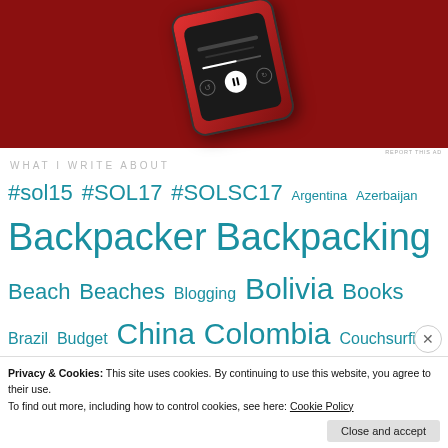[Figure (photo): Smartphone with red case showing a music player interface on a dark red background]
REPORT THIS AD
WHAT I WRITE ABOUT
#sol15 #SOL17 #SOLSC17 Argentina Azerbaijan Backpacker Backpacking Beach Beaches Blogging Bolivia Books Brazil Budget China Colombia Couchsurfing Cruise Cuba Dominican Republic Ecuador Education Egypt Entertainment Europe European Backpacking Expat Finance Food Foodie Friday France
Privacy & Cookies: This site uses cookies. By continuing to use this website, you agree to their use.
To find out more, including how to control cookies, see here: Cookie Policy
Close and accept